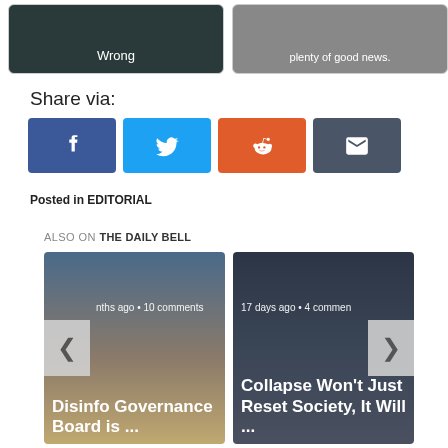[Figure (photo): Two article thumbnail cards: left card with 'Wrong' label on dark teal background, right card with 'plenty of good news.' text on grey background]
Share via:
[Figure (infographic): Four social share buttons: Facebook (blue), Twitter (sky blue), Reddit (orange), Email (dark grey)]
Posted in EDITORIAL
ALSO ON THE DAILY BELL
[Figure (photo): Left article card: 'Disinfo Governance Board is ...' with meta '...nths ago • 10 comments']
[Figure (photo): Right article card: 'Collapse Won't Just Reset Society, It Will ...' with meta '17 days ago • 4 comments']